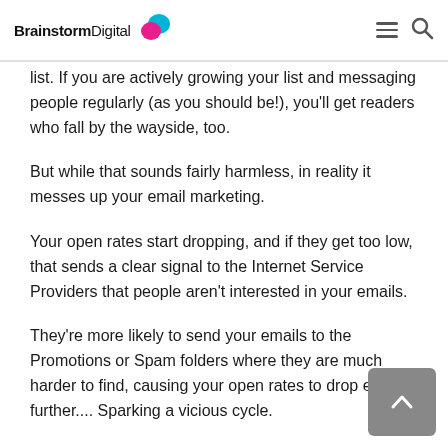BrainstormDigital
list. If you are actively growing your list and messaging people regularly (as you should be!), you'll get readers who fall by the wayside, too.
But while that sounds fairly harmless, in reality it messes up your email marketing.
Your open rates start dropping, and if they get too low, that sends a clear signal to the Internet Service Providers that people aren't interested in your emails.
They're more likely to send your emails to the Promotions or Spam folders where they are much harder to find, causing your open rates to drop even further.... Sparking a vicious cycle.
That's why it's crucial that you periodically clean out your email list, just like you declutter your home.